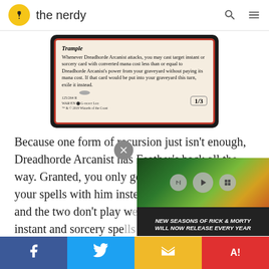the nerdy
[Figure (photo): Magic: The Gathering card - Dreadhorde Arcanist. Shows card text: Trample. Whenever Dreadhorde Arcanist attacks, you may cast target instant or sorcery card with converted mana cost less than or equal to Dreadhorde Arcanist's power from your graveyard without paying its mana cost. If that card would be put into your graveyard this turn, exile it instead. 1/3. 125/264 R WAR-EN G-host Lee. TM & © 2019 Wizards of the Coast]
Because one form of recursion just isn't enough, Dreadhorde Arcanist has Feather's back all the way. Granted, you only get one extra use out of your spells with him instead of an infinite loop... and the two don't play w... instant and sorcery spe... graveyard with Feather ... this cheap Red threat he...
[Figure (screenshot): Video player overlay showing Rick and Morty animated scene with play/pause/skip controls. Caption reads: NEW SEASONS OF RICK & MORTY WILL NOW RELEASE EVERY YEAR]
Facebook | Twitter | Email | AI